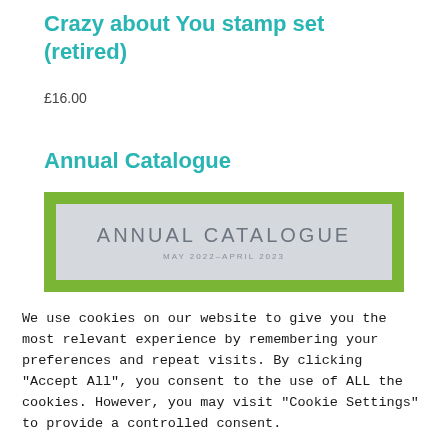Crazy about You stamp set (retired)
£16.00
Annual Catalogue
[Figure (illustration): Annual Catalogue cover image with green border and grey background showing text 'ANNUAL CATALOGUE MAY 2022–APRIL 2023']
We use cookies on our website to give you the most relevant experience by remembering your preferences and repeat visits. By clicking "Accept All", you consent to the use of ALL the cookies. However, you may visit "Cookie Settings" to provide a controlled consent.
Cookie Settings | Accept All